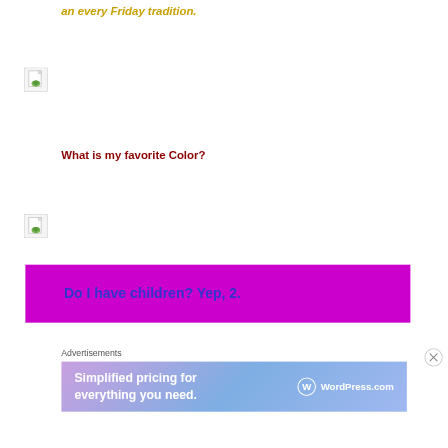an every Friday tradition.
[Figure (illustration): Small image placeholder icon with document and leaf graphic]
What is my favorite Color?
[Figure (illustration): Small image placeholder icon with document and leaf graphic]
Do I have children? Yep, 2.
Advertisements
[Figure (screenshot): WordPress.com advertisement banner: Simplified pricing for everything you need.]